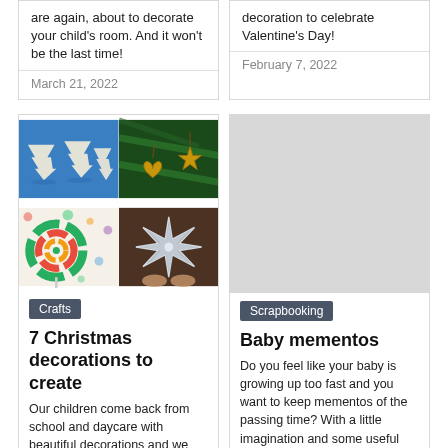are again, about to decorate your child's room. And it won't be the last time!
March 21, 2022
decoration to celebrate Valentine's Day!
February 7, 2022
[Figure (photo): 2x2 grid of four craft photos: white paper Christmas trees on blue background, heart and star shaped gingerbread cookies hanging from pine tree, colorful lollipop swirls, and silver metallic paper star ornament]
Crafts
7 Christmas decorations to create
Our children come back from school and daycare with beautiful decorations and we would like to participate sometimes. Here are seven
[Figure (photo): Gray placeholder image for scrapbooking article]
Scrapbooking
Baby mementos
Do you feel like your baby is growing up too fast and you want to keep mementos of the passing time? With a little imagination and some useful tips, nothing's easier... especially if you're a bit of a